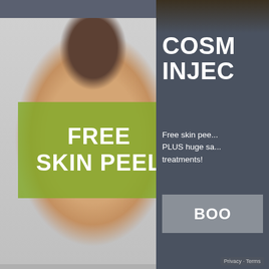[Figure (photo): A woman with dark hair pulled back, eyes closed, holding her face with both hands, against a light grey background. A green semi-transparent banner overlays the lower-left portion of the photo.]
FREE
SKIN PEEL
COSM
INJEC
Free skin pee...
PLUS huge sa...
treatments!
BOO
Privacy · Terms